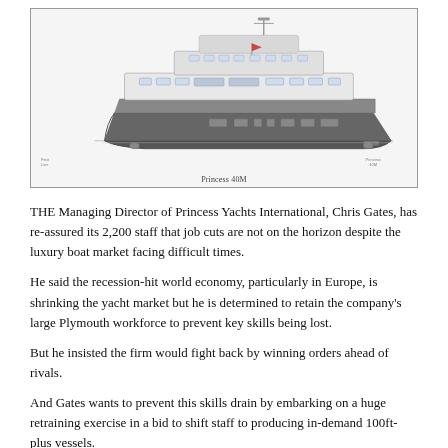[Figure (illustration): Side profile technical illustration of a Princess 40M luxury motor yacht, shown in grayscale/white with dark hull, rendered on a white background inside a bordered box.]
Princess 40M
THE Managing Director of Princess Yachts International, Chris Gates, has re-assured its 2,200 staff that job cuts are not on the horizon despite the luxury boat market facing difficult times.
He said the recession-hit world economy, particularly in Europe, is shrinking the yacht market but he is determined to retain the company's large Plymouth workforce to prevent key skills being lost.
But he insisted the firm would fight back by winning orders ahead of rivals.
And Gates wants to prevent this skills drain by embarking on a huge retraining exercise in a bid to shift staff to producing in-demand 100ft-plus vessels.